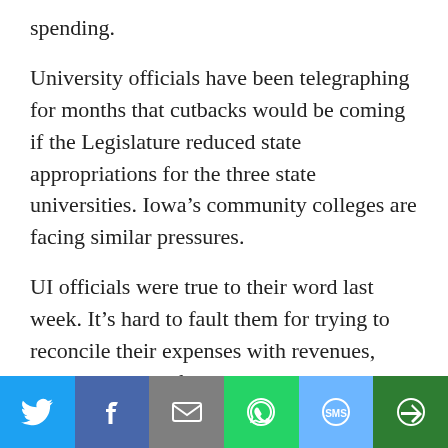spending.
University officials have been telegraphing for months that cutbacks would be coming if the Legislature reduced state appropriations for the three state universities. Iowa’s community colleges are facing similar pressures.
UI officials were true to their word last week. It’s hard to fault them for trying to reconcile their expenses with revenues, although some of their budget choices are not ones I would make.
But university administrators earned a “D” for failing to
[Figure (infographic): Social media share bar with buttons for Twitter (blue), Facebook (dark blue), Email (gray), WhatsApp (green), SMS (light blue), and More (dark green)]